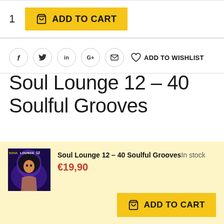1  ADD TO CART
[Figure (screenshot): Social sharing icons row: Facebook (f), Twitter (bird), LinkedIn (in), Google+ (G+), Email (envelope), and ADD TO WISHLIST with heart icon]
Soul Lounge 12 – 40 Soulful Grooves
[Figure (other): Product card with album art for Soul Lounge 12 showing animated woman with afro on purple/blue background]
Soul Lounge 12 – 40 Soulful Grooves In stock
€19,90
ADD TO CART